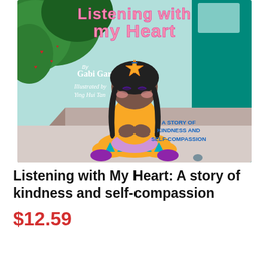[Figure (illustration): Book cover of 'Listening with My Heart' by Gabi Garcia, illustrated by Ying Hui Tan. Shows a cartoon girl with dark braided hair and a yellow star clip, wearing a yellow shirt and colorful pants, sitting cross-legged with eyes closed and hands on chest. Background has green foliage and warm earthy tones. Pink curly title text at top. Subtitle 'A Story of Kindness and Self-Compassion' in blue text at lower right.]
Listening with My Heart: A story of kindness and self-compassion
$12.59